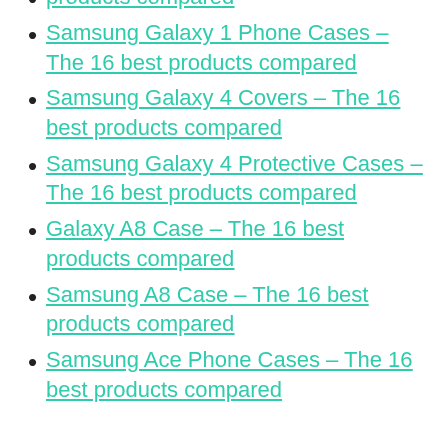Samsung Galaxy 1 Phone Cases – The 16 best products compared
Samsung Galaxy 4 Covers – The 16 best products compared
Samsung Galaxy 4 Protective Cases – The 16 best products compared
Galaxy A8 Case – The 16 best products compared
Samsung A8 Case – The 16 best products compared
Samsung Ace Phone Cases – The 16 best products compared